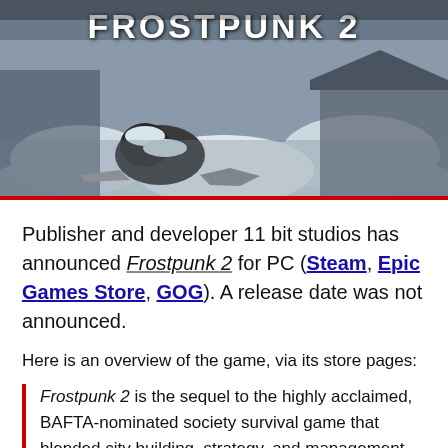[Figure (photo): Frostpunk 2 game banner image showing a snow-covered post-apocalyptic scene with the title FROSTPUNK 2 in white text at the top]
Publisher and developer 11 bit studios has announced Frostpunk 2 for PC (Steam, Epic Games Store, GOG). A release date was not announced.
Here is an overview of the game, via its store pages:
Frostpunk 2 is the sequel to the highly acclaimed, BAFTA-nominated society survival game that blended city building, strategy, and management gameplay, creating a brand new genre. Its successor takes place 30 years after the apocalyptic blizzard storm, and Earth is still overwhelmed